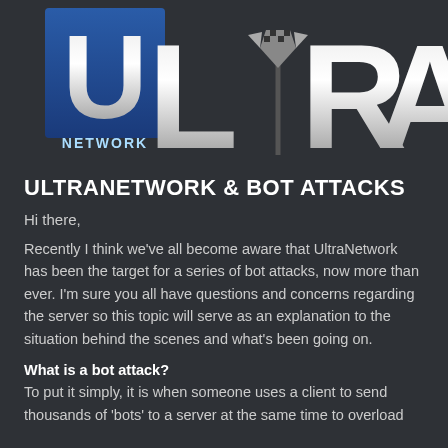[Figure (logo): UltraNetwork logo with large silver ULTRA text and a Minecraft pickaxe icon replacing the T, with a blue square containing 'NETWORK' text on the left]
ULTRANETWORK & BOT ATTACKS
Hi there,
Recently I think we've all become aware that UltraNetwork has been the target for a series of bot attacks, now more than ever. I'm sure you all have questions and concerns regarding the server so this topic will serve as an explanation to the situation behind the scenes and what's been going on.
What is a bot attack?
To put it simply, it is when someone uses a client to send thousands of 'bots' to a server at the same time to overload...